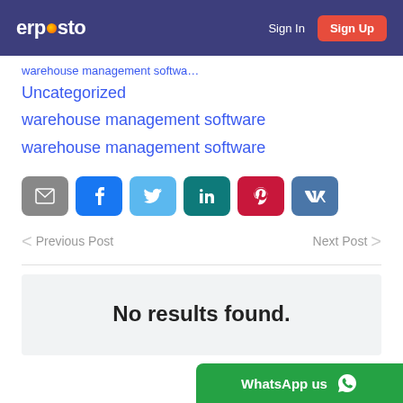Erposto | Sign In | Sign Up
Uncategorized
warehouse management software
warehouse management software
[Figure (other): Social share buttons: email (grey), Facebook (blue), Twitter (light blue), LinkedIn (teal), Pinterest (red), VK (blue)]
< Previous Post   Next Post >
No results found.
WhatsApp us